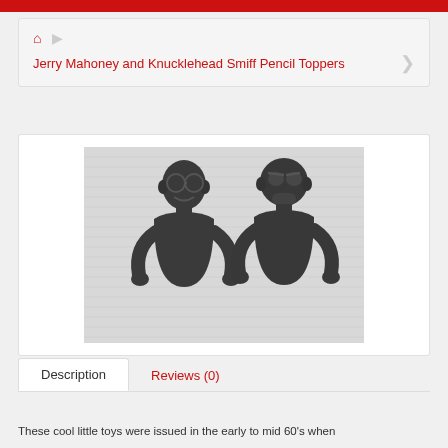🏠 Jerry Mahoney and Knucklehead Smiff Pencil Toppers
[Figure (photo): Two dark metal pencil topper figurines resembling puppet characters Jerry Mahoney and Knucklehead Smiff, photographed against a light fabric background.]
Description  |  Reviews (0)
These cool little toys were issued in the early to mid 60's when